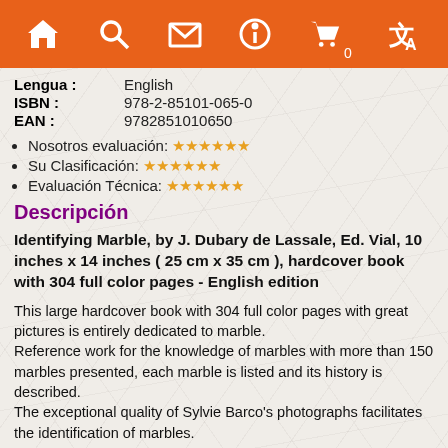Navigation bar with icons: home, search, mail, info, cart (0), translate
Lengua : English
ISBN : 978-2-85101-065-0
EAN : 9782851010650
Nosotros evaluación: ★★★★★★
Su Clasificación: ★★★★★★
Evaluación Técnica: ★★★★★★
Descripción
Identifying Marble, by J. Dubary de Lassale, Ed. Vial, 10 inches x 14 inches ( 25 cm x 35 cm ), hardcover book with 304 full color pages - English edition
This large hardcover book with 304 full color pages with great pictures is entirely dedicated to marble.
Reference work for the knowledge of marbles with more than 150 marbles presented, each marble is listed and its history is described.
The exceptional quality of Sylvie Barco's photographs facilitates the identification of marbles.